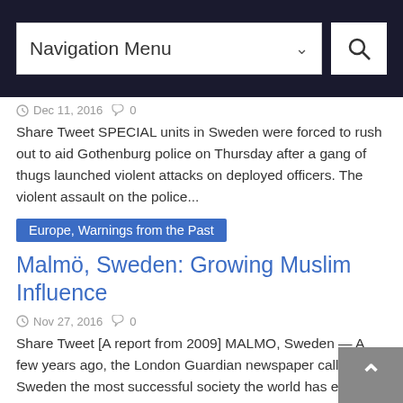Navigation Menu
Dec 11, 2016  0
Share Tweet SPECIAL units in Sweden were forced to rush out to aid Gothenburg police on Thursday after a gang of thugs launched violent attacks on deployed officers. The violent assault on the police...
Europe, Warnings from the Past
Malmö, Sweden: Growing Muslim Influence
Nov 27, 2016  0
Share Tweet [A report from 2009] MALMO, Sweden — A few years ago, the London Guardian newspaper called Sweden the most successful society the world has ever known. But Sweden today is being...
Europe
480 000 sex crimes against